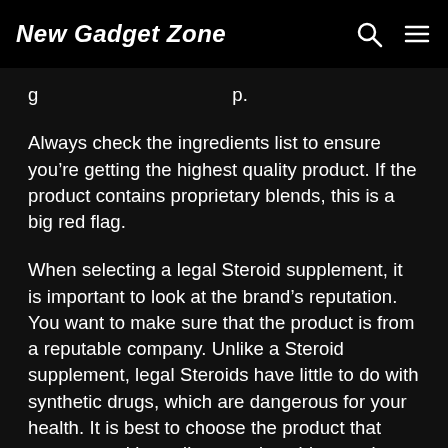New Gadget Zone
Always check the ingredients list to ensure you’re getting the highest quality product. If the product contains proprietary blends, this is a big red flag.
When selecting a legal Steroid supplement, it is important to look at the brand’s reputation. You want to make sure that the product is from a reputable company. Unlike a Steroid supplement, legal Steroids have little to do with synthetic drugs, which are dangerous for your health. It is best to choose the product that uses natural ingredients and avoids proprietary blends. This will ensure that you are getting the highest quality legal Steroid supplement.